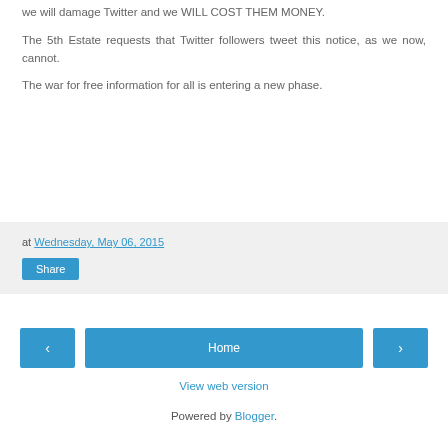we will damage Twitter and we WILL COST THEM MONEY.
The 5th Estate requests that Twitter followers tweet this notice, as we now, cannot.
The war for free information for all is entering a new phase.
at Wednesday, May 06, 2015
Share
‹
Home
›
View web version
Powered by Blogger.